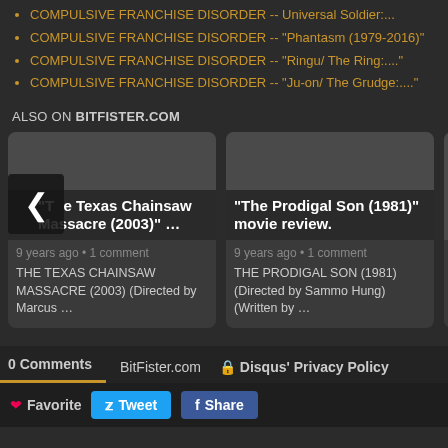COMPULSIVE FRANCHISE DISORDER -- Universal Soldier:...
COMPULSIVE FRANCHISE DISORDER -- "Phantasm (1979-2016)"
COMPULSIVE FRANCHISE DISORDER -- "Ringu/ The Ring:...."
COMPULSIVE FRANCHISE DISORDER -- "Ju-on/ The Grudge:...."
ALSO ON BITFISTER.COM
[Figure (screenshot): Card for 'The Texas Chainsaw Massacre (2003)' movie review with metadata '9 years ago • 1 comment' and body text 'THE TEXAS CHAINSAW MASSACRE (2003) (Directed by Marcus ...']
[Figure (screenshot): Card for 'The Prodigal Son (1981)' movie review with metadata '9 years ago • 1 comment' and body text 'THE PRODIGAL SON (1981) (Directed by Sammo Hung) (Written by ...']
0 Comments   BitFister.com   Disqus' Privacy Policy
Favorite   Tweet   Share